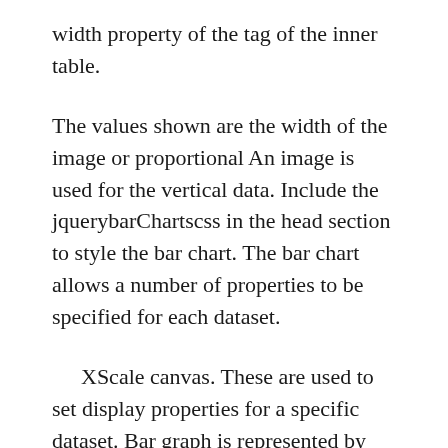width property of the tag of the inner table.
The values shown are the width of the image or proportional An image is used for the vertical data. Include the jquerybarChartscss in the head section to style the bar chart. The bar chart allows a number of properties to be specified for each dataset.
XScale canvas. These are used to set display properties for a specific dataset. Bar graph is represented by rectangular bars where length of bar is proportional to the values that they represent.